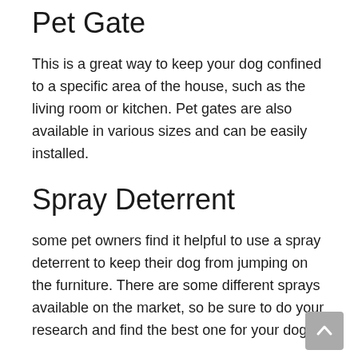Pet Gate
This is a great way to keep your dog confined to a specific area of the house, such as the living room or kitchen. Pet gates are also available in various sizes and can be easily installed.
Spray Deterrent
some pet owners find it helpful to use a spray deterrent to keep their dog from jumping on the furniture. There are some different sprays available on the market, so be sure to do your research and find the best one for your dog.
Jumping on the furniture is a common